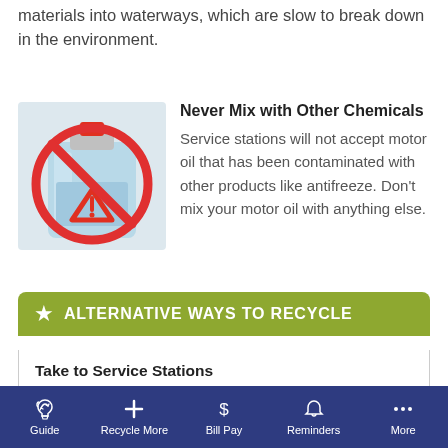materials into waterways, which are slow to break down in the environment.
[Figure (illustration): A blue chemical canister/jug with a red 'no' circle-slash symbol over it, indicating prohibition of mixing chemicals.]
Never Mix with Other Chemicals
Service stations will not accept motor oil that has been contaminated with other products like antifreeze. Don't mix your motor oil with anything else.
ALTERNATIVE WAYS TO RECYCLE
Take to Service Stations
The best way to recycle used motor oil and filters
Guide | Recycle More | Bill Pay | Reminders | More